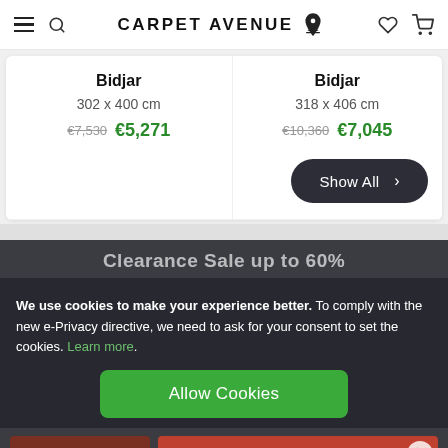CARPET AVENUE
Bidjar
302 x 400 cm
€7,530  €5,271
Bidjar
318 x 406 cm
€10,360  €7,045
Show All >
Clearance Sale up to 60%
We use cookies to make your experience better. To comply with the new e-Privacy directive, we need to ask for your consent to set the cookies. Learn more.
Allow Cookies
-40%